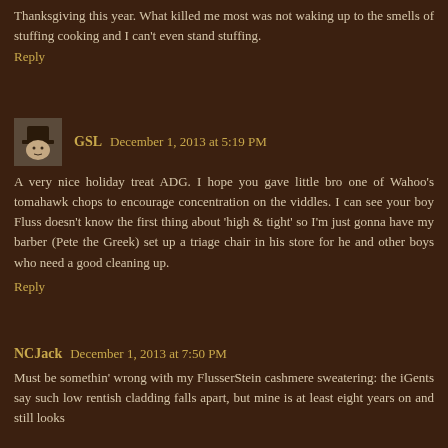Thanksgiving this year. What killed me most was not waking up to the smells of stuffing cooking and I can't even stand stuffing.
Reply
GSL December 1, 2013 at 5:19 PM
A very nice holiday treat ADG. I hope you gave little bro one of Wahoo's tomahawk chops to encourage concentration on the viddles. I can see your boy Fluss doesn't know the first thing about 'high & tight' so I'm just gonna have my barber (Pete the Greek) set up a triage chair in his store for he and other boys who need a good cleaning up.
Reply
NCJack December 1, 2013 at 7:50 PM
Must be somethin' wrong with my FlusserStein cashmere sweatering: the iGents say such low rentish cladding falls apart, but mine is at least eight years on and still looks